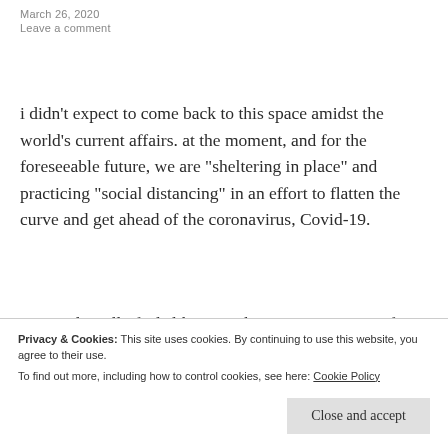March 26, 2020
Leave a comment
i didn’t expect to come back to this space amidst the world’s current affairs. at the moment, and for the foreseeable future, we are “sheltering in place” and practicing “social distancing” in an effort to flatten the curve and get ahead of the coronavirus, Covid-19.
wow. it literally feels like something written in a sci-fi novel. a global pandemic caused by some ominous virus. the
Privacy & Cookies: This site uses cookies. By continuing to use this website, you agree to their use.
To find out more, including how to control cookies, see here: Cookie Policy
Close and accept